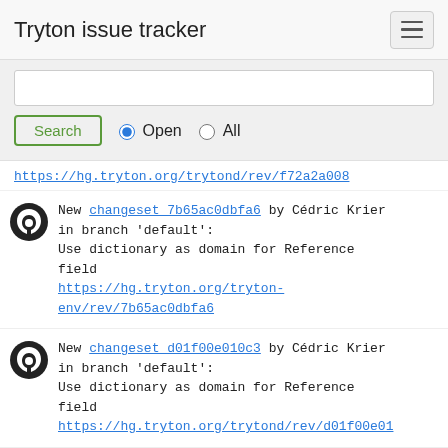Tryton issue tracker
Search | Open | All
https://hg.tryton.org/trytond/rev/f72a2a008
New changeset 7b65ac0dbfa6 by Cédric Krier in branch 'default': Use dictionary as domain for Reference field https://hg.tryton.org/tryton-env/rev/7b65ac0dbfa6
New changeset d01f00e010c3 by Cédric Krier in branch 'default': Use dictionary as domain for Reference field https://hg.tryton.org/trytond/rev/d01f00e01
New changeset e4a532dba812 by Cédric Krier